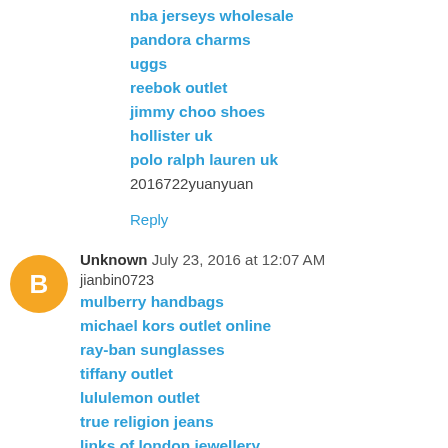nba jerseys wholesale
pandora charms
uggs
reebok outlet
jimmy choo shoes
hollister uk
polo ralph lauren uk
2016722yuanyuan
Reply
Unknown  July 23, 2016 at 12:07 AM
jianbin0723
mulberry handbags
michael kors outlet online
ray-ban sunglasses
tiffany outlet
lululemon outlet
true religion jeans
links of london jewellery
michael kors outlet store
tory burch outlet